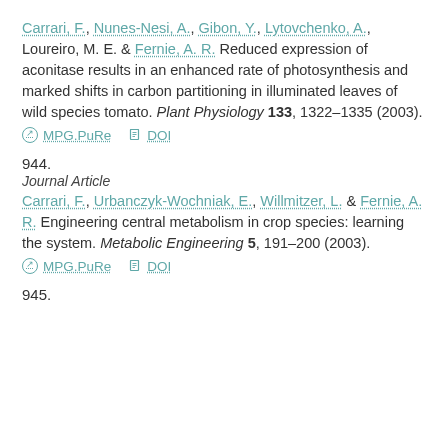Carrari, F., Nunes-Nesi, A., Gibon, Y., Lytovchenko, A., Loureiro, M. E. & Fernie, A. R. Reduced expression of aconitase results in an enhanced rate of photosynthesis and marked shifts in carbon partitioning in illuminated leaves of wild species tomato. Plant Physiology 133, 1322–1335 (2003).
MPG.PuRe   DOI
944.
Journal Article
Carrari, F., Urbanczyk-Wochniak, E., Willmitzer, L. & Fernie, A. R. Engineering central metabolism in crop species: learning the system. Metabolic Engineering 5, 191–200 (2003).
MPG.PuRe   DOI
945.